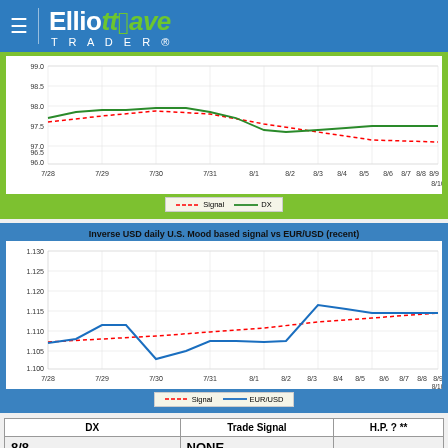Elliott Wave Trader
[Figure (continuous-plot): USD Daily U.S. Mood based signal vs DX (recent). Green line shows DX price, red dashed line shows Signal. X-axis: 7/28 to 8/10. Y-axis: 96.0 to 99.0]
[Figure (continuous-plot): Inverse USD daily U.S. Mood based signal vs EUR/USD (recent). Blue line shows EUR/USD price, red dashed line shows Signal. X-axis: 7/28 to 8/10. Y-axis: 1.100 to 1.130]
| DX | Trade Signal | H.P. ? ** |
| --- | --- | --- |
| 8/8 | NONE |  |